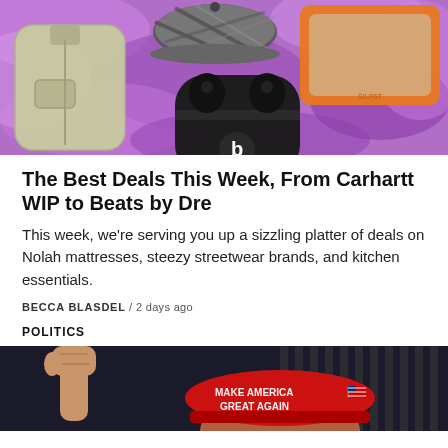[Figure (photo): Product photo collage on purple background showing a beige jacket, plaid cap, black Beats earbuds in case, and an orange-edged silicone baking mat]
The Best Deals This Week, From Carhartt WIP to Beats by Dre
This week, we're serving you up a sizzling platter of deals on Nolah mattresses, steezy streetwear brands, and kitchen essentials.
BECCA BLASDEL / 2 days ago
POLITICS
[Figure (photo): Person raising a fist on the left, and a person wearing a red 'Make America Great Again' hat on the right]